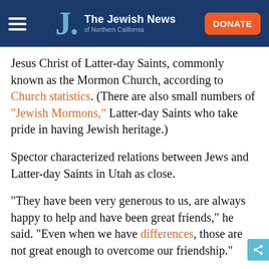The Jewish News of Northern California
Jesus Christ of Latter-day Saints, commonly known as the Mormon Church, according to Church statistics. (There are also small numbers of "Jewish Mormons," Latter-day Saints who take pride in having Jewish heritage.)
Spector characterized relations between Jews and Latter-day Saints in Utah as close.
“They have been very generous to us, are always happy to help and have been great friends,” he said. “Even when we have differences, those are not great enough to overcome our friendship.”
Picado, who works in health insurance and